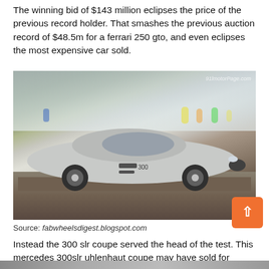The winning bid of $143 million eclipses the price of the previous record holder. That smashes the previous auction record of $48.5m for a ferrari 250 gto, and even eclipses the most expensive car sold.
[Figure (photo): A silver vintage Mercedes-Benz 300 SLR Uhlenhaut Coupe racing car photographed in motion at a motorsport event, with blurred green trees and spectators in the background. Watermark reads 91lmotorPage.com]
Source: fabwheelsdigest.blogspot.com
Instead the 300 slr coupe served the head of the test. This mercedes 300slr uhlenhaut coupe may have sold for record $142m.